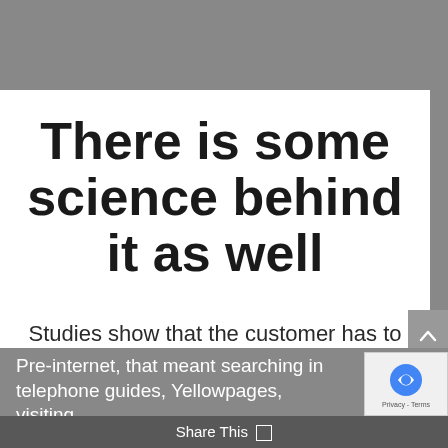There is some science behind it as well
Studies show that the customer has to make an investment in time, money and trust to make a purchase.
Pre-internet, that meant searching in telephone guides, Yellowpages, visiting
Share This